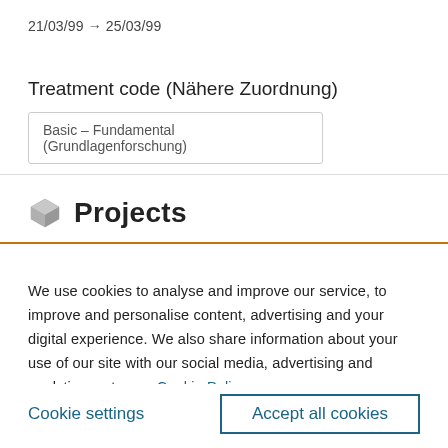21/03/99 → 25/03/99
Treatment code (Nähere Zuordnung)
Basic – Fundamental (Grundlagenforschung)
Projects
We use cookies to analyse and improve our service, to improve and personalise content, advertising and your digital experience. We also share information about your use of our site with our social media, advertising and analytics partners.  Cookie Policy
Cookie settings
Accept all cookies